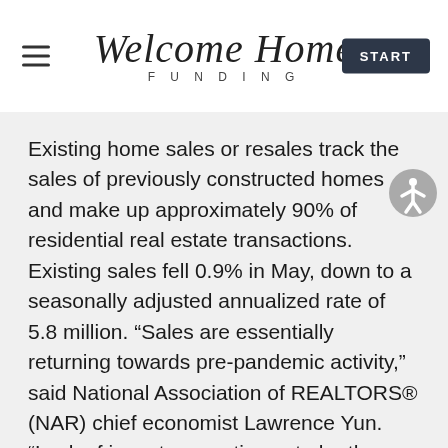Welcome Home Funding — START
Existing home sales or resales track the sales of previously constructed homes and make up approximately 90% of residential real estate transactions. Existing sales fell 0.9% in May, down to a seasonally adjusted annualized rate of 5.8 million. “Sales are essentially returning towards pre-pandemic activity,” said National Association of REALTORS® (NAR) chief economist Lawrence Yun. “Lack of inventory continues to be the overwhelming factor holding back home sales, but falling affordability is simply squeezing some first-time buyers out of the market.”
With the elimination of the Adverse Market Refinance Fee, homeowners have more opportunity to take advantage of the lower...